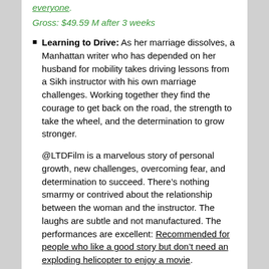everyone.
Gross: $49.59 M after 3 weeks
Learning to Drive: As her marriage dissolves, a Manhattan writer who has depended on her husband for mobility takes driving lessons from a Sikh instructor with his own marriage challenges. Working together they find the courage to get back on the road, the strength to take the wheel, and the determination to grow stronger.
@LTDFilm is a marvelous story of personal growth, new challenges, overcoming fear, and determination to succeed. There’s nothing smarmy or contrived about the relationship between the woman and the instructor. The laughs are subtle and not manufactured. The performances are excellent: Recommended for people who like a good story but don’t need an exploding helicopter to enjoy a movie.
Gross: $3,285 after 8 weeks